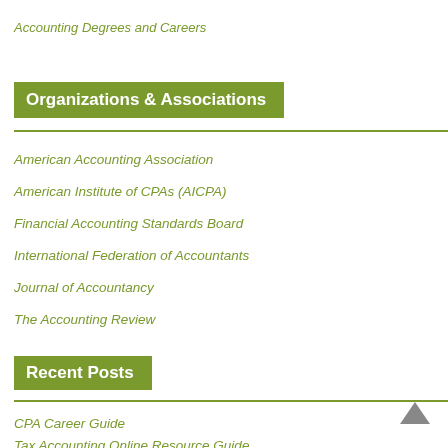Accounting Degrees and Careers
Organizations & Associations
American Accounting Association
American Institute of CPAs (AICPA)
Financial Accounting Standards Board
International Federation of Accountants
Journal of Accountancy
The Accounting Review
Recent Posts
CPA Career Guide
Tax Accounting Online Resource Guide